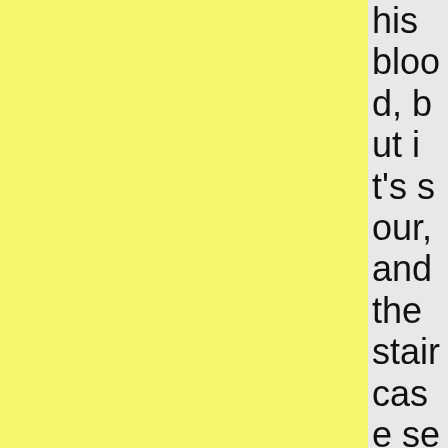his blood, but it's sour, and the staircase seems to kind of bemoan that it will nev